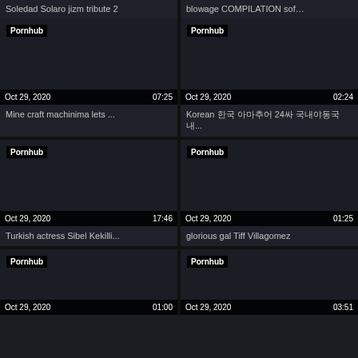Soledad Solaro jizm tribute 2
blowage COMPILATION sof…
[Figure (screenshot): Video thumbnail dark with Pornhub badge, date Oct 29 2020, duration 07:25]
Mine craft machinima lets ...
[Figure (screenshot): Video thumbnail dark with Pornhub badge, date Oct 29 2020, duration 02:24]
Korean 한국 야동 아마추어 24살 국내야동국내...
[Figure (screenshot): Video thumbnail dark with Pornhub badge, date Oct 29 2020, duration 17:46]
Turkish actress Sibel Kekilli...
[Figure (screenshot): Video thumbnail dark with Pornhub badge, date Oct 29 2020, duration 01:25]
glorious gal Tiff Villagomez
[Figure (screenshot): Video thumbnail dark with Pornhub badge, date Oct 29 2020, duration 01:00]
[Figure (screenshot): Video thumbnail dark with Pornhub badge, date Oct 29 2020, duration 03:51]